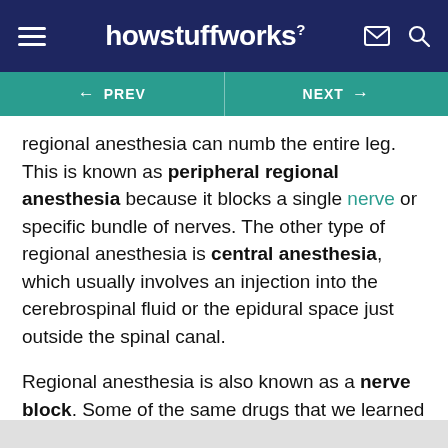howstuffworks
← PREV   NEXT →
regional anesthesia can numb the entire leg. This is known as peripheral regional anesthesia because it blocks a single nerve or specific bundle of nerves. The other type of regional anesthesia is central anesthesia, which usually involves an injection into the cerebrospinal fluid or the epidural space just outside the spinal canal.
Regional anesthesia is also known as a nerve block. Some of the same drugs that we learned about in